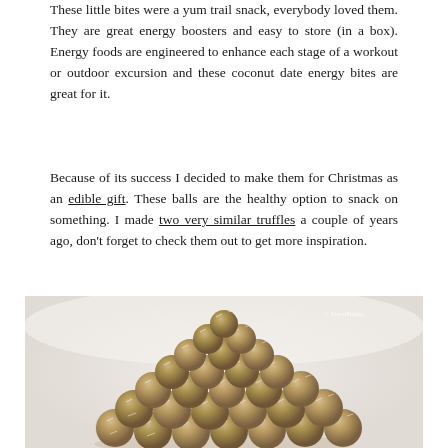These little bites were a yum trail snack, everybody loved them. They are great energy boosters and easy to store (in a box). Energy foods are engineered to enhance each stage of a workout or outdoor excursion and these coconut date energy bites are great for it.
Because of its success I decided to make them for Christmas as an edible gift. These balls are the healthy option to snack on something. I made two very similar truffles a couple of years ago, don't forget to check them out to get more inspiration.
[Figure (photo): A pile of coconut date energy balls dusted with shredded coconut, photographed from above on a white surface. Watermark reads '© SinoHappy'.]